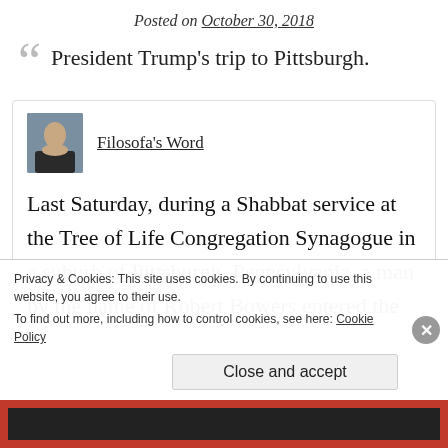Posted on October 30, 2018
President Trump's trip to Pittsburgh.
Filosofa's Word
Last Saturday, during a Shabbat service at the Tree of Life Congregation Synagogue in a suburb of Pittsburgh, Pennsylvania, a man by the name of Robert Bowers entered the
Privacy & Cookies: This site uses cookies. By continuing to use this website, you agree to their use.
To find out more, including how to control cookies, see here: Cookie Policy
Close and accept